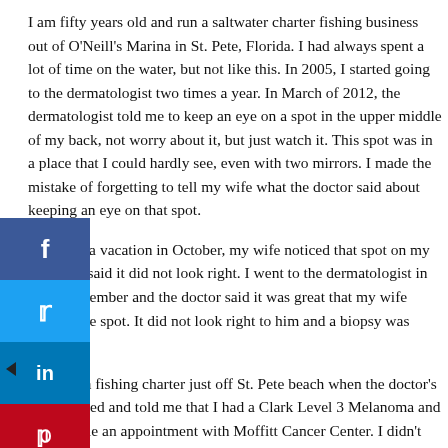I am fifty years old and run a saltwater charter fishing business out of O'Neill's Marina in St. Pete, Florida. I had always spent a lot of time on the water, but not like this. In 2005, I started going to the dermatologist two times a year. In March of 2012, the dermatologist told me to keep an eye on a spot in the upper middle of my back, not worry about it, but just watch it. This spot was in a place that I could hardly see, even with two mirrors. I made the mistake of forgetting to tell my wife what the doctor said about keeping an eye on that spot.
While on a vacation in October, my wife noticed that spot on my back and said it did not look right. I went to the dermatologist in early November and the doctor said it was great that my wife noticed the spot. It did not look right to him and a biopsy was done.
I was on a fishing charter just off St. Pete beach when the doctor's office called and told me that I had a Clark Level 3 Melanoma and to schedule an appointment with Moffitt Cancer Center. I didn't know what to think. I was scared, angry, nervous and just wanted to get off the boat. As much as I tried not to let my clients know what that